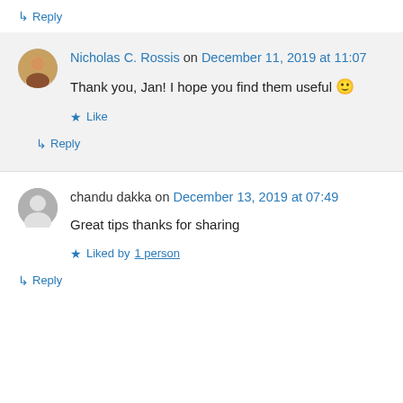↳ Reply
Nicholas C. Rossis on December 11, 2019 at 11:07
Thank you, Jan! I hope you find them useful 🙂
★ Like
↳ Reply
chandu dakka on December 13, 2019 at 07:49
Great tips thanks for sharing
★ Liked by 1 person
↳ Reply